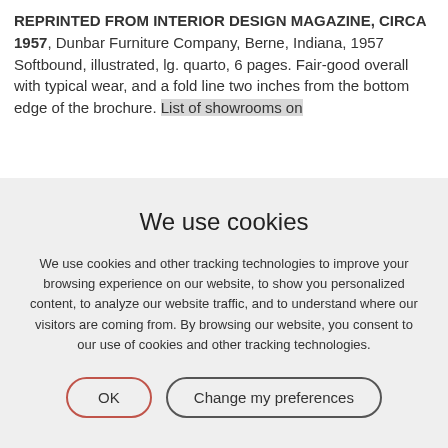REPRINTED FROM INTERIOR DESIGN MAGAZINE, CIRCA 1957, Dunbar Furniture Company, Berne, Indiana, 1957 Softbound, illustrated, lg. quarto, 6 pages. Fair-good overall with typical wear, and a fold line two inches from the bottom edge of the brochure. List of showrooms on
We use cookies
We use cookies and other tracking technologies to improve your browsing experience on our website, to show you personalized content, to analyze our website traffic, and to understand where our visitors are coming from. By browsing our website, you consent to our use of cookies and other tracking technologies.